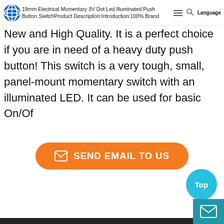19mm Electrical Momentary 3V Dot Led Illuminated Push Button Switch — Product Description: Introduction: 100% Brand New and High Quality.
19mm Electrical Momentary 3V Dot Led Illuminated Push Button SwitchProduct Description:Introduction:100% Brand New and High Quality. It is a perfect choice if you are in need of a heavy duty push button! This switch is a very tough, small, panel-mount momentary switch with an illuminated LED. It can be used for basic On/Of
[Figure (other): Orange rounded-rectangle button labeled SEND EMAIL TO US with envelope icon]
[Figure (other): Cyan circle Top button and teal mail icon box in bottom-right corner]